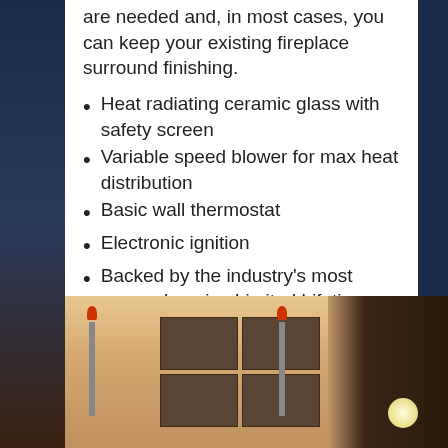are needed and, in most cases, you can keep your existing fireplace surround finishing.
Heat radiating ceramic glass with safety screen
Variable speed blower for max heat distribution
Basic wall thermostat
Electronic ignition
Backed by the industry's most comprehensive Limited Lifetime Warranty.
E18-featuresheet
[Figure (photo): Interior room photo showing decorative wall panels with carved design, two tall candleholders with red candles, and a dark wood cabinet/armoire on the right side, against a warm beige wall.]